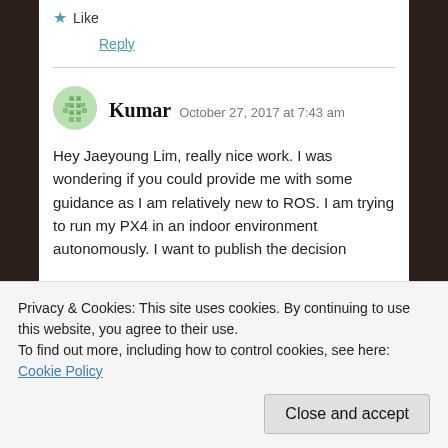★ Like
Reply
Kumar  October 27, 2017 at 7:43 am
Hey Jaeyoung Lim, really nice work. I was wondering if you could provide me with some guidance as I am relatively new to ROS. I am trying to run my PX4 in an indoor environment autonomously. I want to publish the decision
Privacy & Cookies: This site uses cookies. By continuing to use this website, you agree to their use.
To find out more, including how to control cookies, see here: Cookie Policy
Close and accept